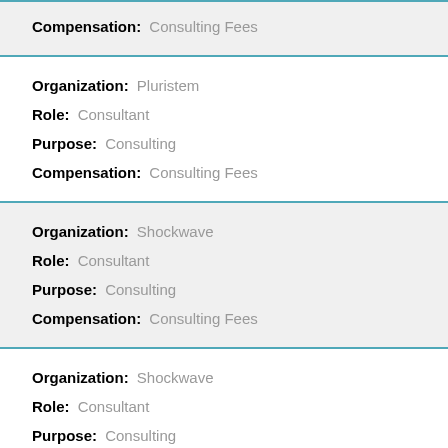Compensation: Consulting Fees
Organization: Pluristem
Role: Consultant
Purpose: Consulting
Compensation: Consulting Fees
Organization: Shockwave
Role: Consultant
Purpose: Consulting
Compensation: Consulting Fees
Organization: Shockwave
Role: Consultant
Purpose: Consulting
Compensation: Consulting Fees